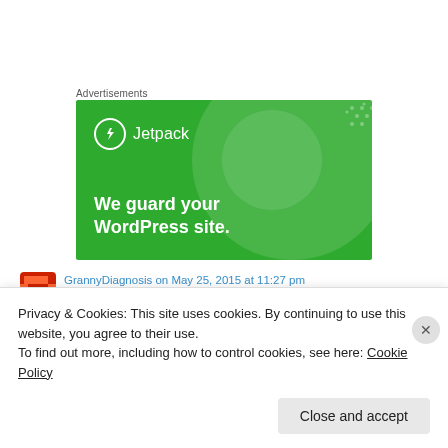Advertisements
[Figure (illustration): Jetpack advertisement banner on green background with text 'We guard your WordPress site.' and Jetpack logo with lightning bolt icon]
GrannyDiagnosis on May 25, 2015 at 11:27 pm
Privacy & Cookies: This site uses cookies. By continuing to use this website, you agree to their use.
To find out more, including how to control cookies, see here: Cookie Policy
Close and accept